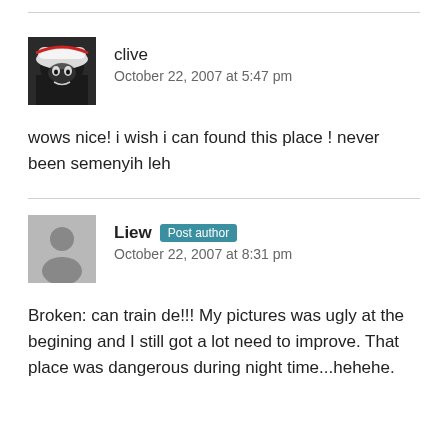clive
October 22, 2007 at 5:47 pm
wows nice! i wish i can found this place ! never been semenyih leh
Liew Post author
October 22, 2007 at 8:31 pm
Broken: can train de!!! My pictures was ugly at the begining and I still got a lot need to improve. That place was dangerous during night time...hehehe.